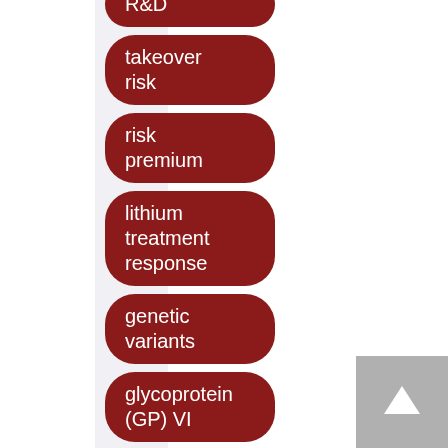R&D
takeover risk
risk premium
lithium treatment response
genetic variants
glycoprotein (GP) VI
trowaglerix
C-type lectin